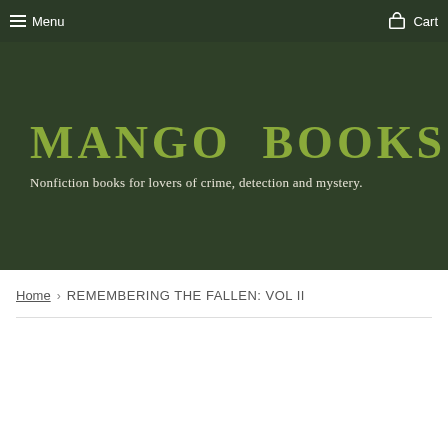Menu  Cart
MANGO BOOKS
Nonfiction books for lovers of crime, detection and mystery.
Home › REMEMBERING THE FALLEN: VOL II